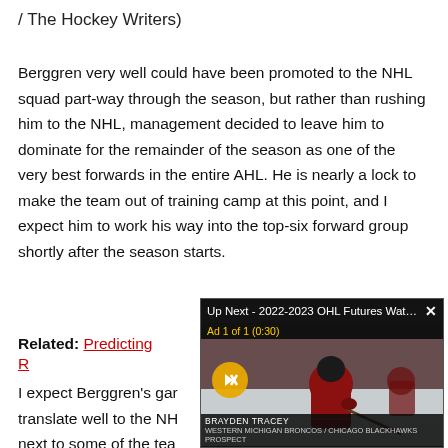/ The Hockey Writers)
Berggren very well could have been promoted to the NHL squad part-way through the season, but rather than rushing him to the NHL, management decided to leave him to dominate for the remainder of the season as one of the very best forwards in the entire AHL. He is nearly a lock to make the team out of training camp at this point, and I expect him to work his way into the top-six forward group shortly after the season starts.
Related: Predicting [link] R[link]
[Figure (screenshot): Video overlay showing 'Up Next - 2022-2023 OHL Futures Watc...' with a hockey player in red jersey on ice, Ad 1 of 1 (0:30) label, mute button, and player name bar at bottom.]
I expect Berggren's gar[cut] translate well to the NH[cut] next to some of the tea[cut]